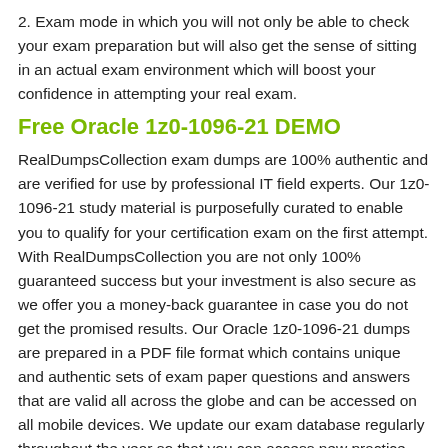2. Exam mode in which you will not only be able to check your exam preparation but will also get the sense of sitting in an actual exam environment which will boost your confidence in attempting your real exam.
Free Oracle 1z0-1096-21 DEMO
RealDumpsCollection exam dumps are 100% authentic and are verified for use by professional IT field experts. Our 1z0-1096-21 study material is purposefully curated to enable you to qualify for your certification exam on the first attempt. With RealDumpsCollection you are not only 100% guaranteed success but your investment is also secure as we offer you a money-back guarantee in case you do not get the promised results. Our Oracle 1z0-1096-21 dumps are prepared in a PDF file format which contains unique and authentic sets of exam paper questions and answers that are valid all across the globe and can be accessed on all mobile devices. We update our exam database regularly throughout the year so that you can access new practice questions & answers for your 1z0-1096-21 exam. Our legacy speaks volumes as our 1z0-1096-21